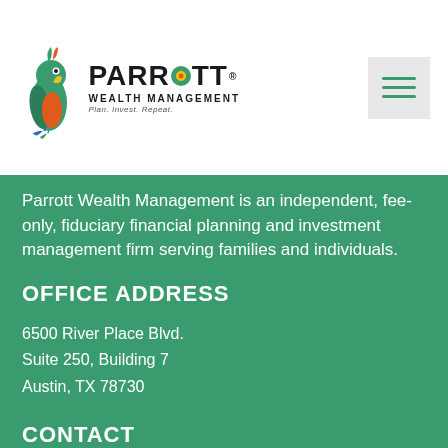[Figure (logo): Parrott Wealth Management logo with parrot illustration, company name and tagline 'Plan. Invest. Repeat.']
Parrott Wealth Management is an independent, fee-only, fiduciary financial planning and investment management firm serving families and individuals.
OFFICE ADDRESS
6500 River Place Blvd.
Suite 250, Building 7
Austin, TX 78730
CONTACT
Phone: 512-813-7642